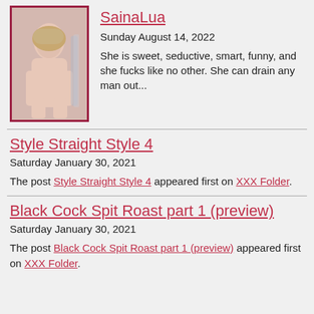[Figure (photo): Profile photo of SainaLua, a woman with blonde hair posing]
SainaLua
Sunday August 14, 2022
She is sweet, seductive, smart, funny, and she fucks like no other. She can drain any man out...
Style Straight Style 4
Saturday January 30, 2021
The post Style Straight Style 4 appeared first on XXX Folder.
Black Cock Spit Roast part 1 (preview)
Saturday January 30, 2021
The post Black Cock Spit Roast part 1 (preview) appeared first on XXX Folder.